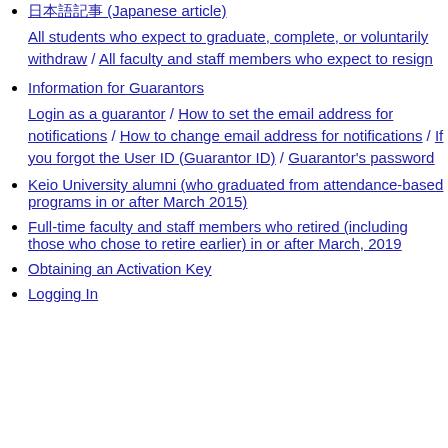日本語記事 (Japanese article)
All students who expect to graduate, complete, or voluntarily withdraw / All faculty and staff members who expect to resign
Information for Guarantors
Login as a guarantor / How to set the email address for notifications / How to change email address for notifications / If you forgot the User ID (Guarantor ID) / Guarantor's password
Keio University alumni (who graduated from attendance-based programs in or after March 2015)
Full-time faculty and staff members who retired (including those who chose to retire earlier) in or after March, 2019
Obtaining an Activation Key
Logging In